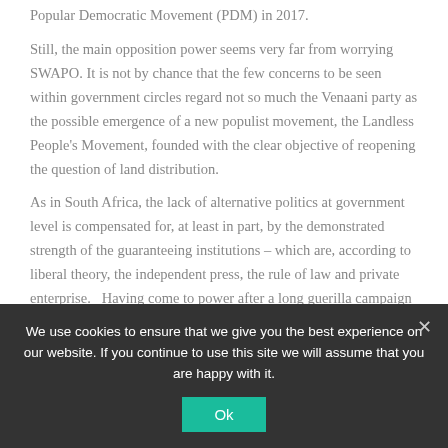Popular Democratic Movement (PDM) in 2017.

Still, the main opposition power seems very far from worrying SWAPO. It is not by chance that the few concerns to be seen within government circles regard not so much the Venaani party as the possible emergence of a new populist movement, the Landless People's Movement, founded with the clear objective of reopening the question of land distribution.

As in South Africa, the lack of alternative politics at government level is compensated for, at least in part, by the demonstrated strength of the guaranteeing institutions – which are, according to liberal theory, the independent press, the rule of law and private enterprise.   Having come to power after a long guerilla campaign supported by the Soviets and
We use cookies to ensure that we give you the best experience on our website. If you continue to use this site we will assume that you are happy with it.